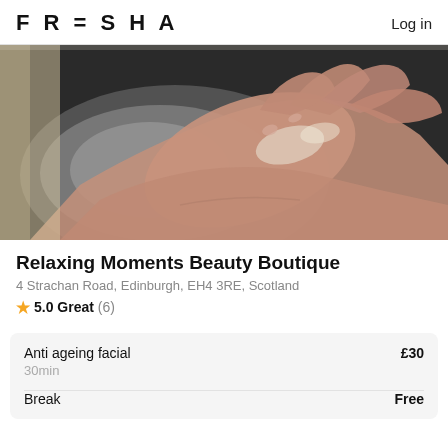FRESHA   Log in
[Figure (photo): Close-up photo of a hand being massaged or treated on a dark surface, likely a beauty/spa treatment in progress. The image is cropped to show the top portion.]
Relaxing Moments Beauty Boutique
4 Strachan Road, Edinburgh, EH4 3RE, Scotland
5.0 Great (6)
| Service | Price |
| --- | --- |
| Anti ageing facial
30min | £30 |
| Break | Free |